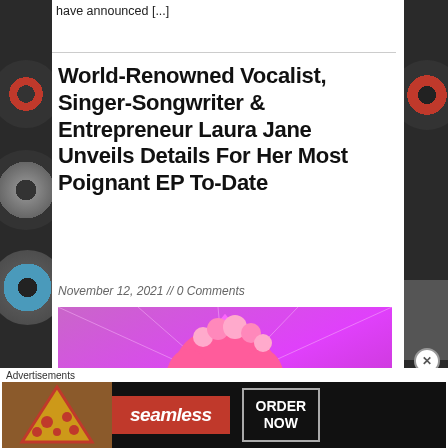have announced [...]
World-Renowned Vocalist, Singer-Songwriter & Entrepreneur Laura Jane Unveils Details For Her Most Poignant EP To-Date
November 12, 2021 // 0 Comments
[Figure (photo): Laura Jane with pink hair and rose crown headpiece against a pink neon triangle background with text LAURA JANE WILLOW]
Advertisements
[Figure (photo): Seamless food delivery advertisement with pizza image, Seamless logo and ORDER NOW button]